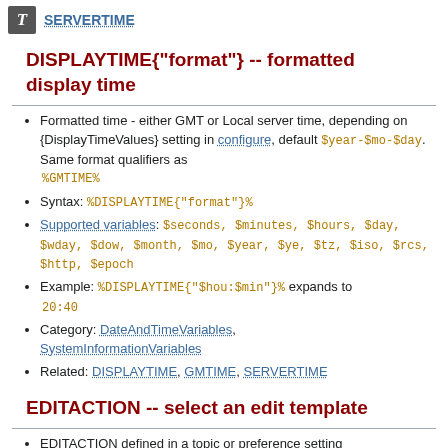SERVERTIME
DISPLAYTIME{"format"} -- formatted display time
Formatted time - either GMT or Local server time, depending on {DisplayTimeValues} setting in configure, default $year-$mo-$day. Same format qualifiers as %GMTIME%
Syntax: %DISPLAYTIME{"format"}%
Supported variables: $seconds, $minutes, $hours, $day, $wday, $dow, $month, $mo, $year, $ye, $tz, $iso, $rcs, $http, $epoch
Example: %DISPLAYTIME{"$hou:$min"}% expands to 20:40
Category: DateAndTimeVariables, SystemInformationVariables
Related: DISPLAYTIME, GMTIME, SERVERTIME
EDITACTION -- select an edit template
EDITACTION defined in a topic or preference setting